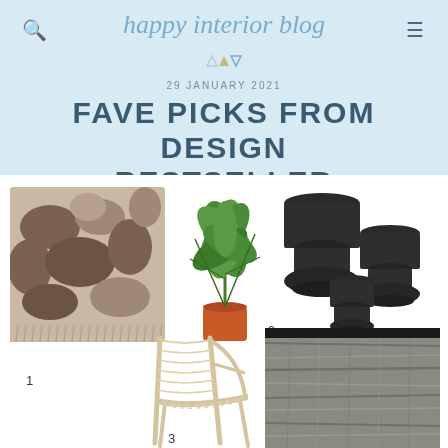happy interior blog
29 JANUARY 2021
FAVE PICKS FROM DESIGN BESTSELLER
[Figure (photo): Folded throw blanket with camouflage/abstract brown and beige pattern with fringe, labeled 1]
[Figure (photo): A green leafy houseplant in an orange terracotta pot]
[Figure (photo): Set of three dark charcoal/black hourglass-shaped ceramic pots in different sizes, labeled 2]
[Figure (photo): Light wood and rope woven lounge chair, labeled 3]
[Figure (photo): Dark grey textured woven rug with black border]